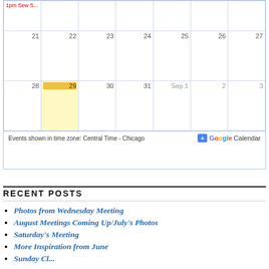[Figure (screenshot): Partial Google Calendar showing weeks of Aug 21-27, Aug 28-Sep 3. Day 29 is highlighted in yellow (today). An event '1pm Sew S...' appears in red on day 25. Footer reads 'Events shown in time zone: Central Time - Chicago' with Google Calendar button.]
RECENT POSTS
Photos from Wednesday Meeting
August Meetings Coming Up/July's Photos
Saturday's Meeting
More Inspiration from June